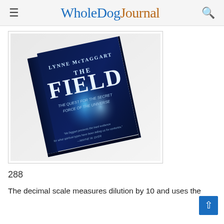Whole Dog Journal
[Figure (photo): Book cover of 'The Field: The Quest for the Secret Force of the Universe' by Lynne McTaggart, shown at an angle on a white background. Dark blue cover with glowing energy imagery.]
288
The decimal scale measures dilution by 10 and uses the